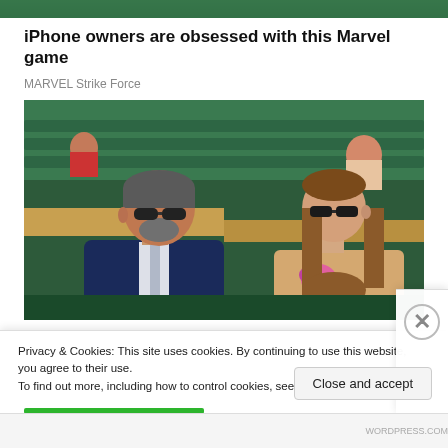[Figure (screenshot): Top banner image strip — dark green/forest scene partially visible at top of page]
iPhone owners are obsessed with this Marvel game
MARVEL Strike Force
[Figure (photo): Two people seated in stands at what appears to be a tennis event (Wimbledon). A man in a dark suit with gray tie wearing sunglasses sits beside a woman with long brown hair wearing sunglasses and a floral/sparkly outfit. Green stadium seating visible in background.]
Privacy & Cookies: This site uses cookies. By continuing to use this website, you agree to their use.
To find out more, including how to control cookies, see here: Cookie Policy
Close and accept